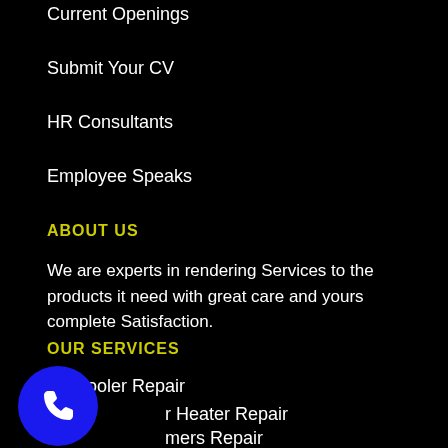Current Openings
Submit Your CV
HR Consultants
Employee Speaks
ABOUT US
We are experts in rendering Services to the products it need with great care and yours complete Satisfaction.
OUR SERVICES
Air Cooler Repair
r Heater Repair
mers Repair
Ceiling Fan Repair
[Figure (illustration): Blue circular phone call button icon with white telephone handset symbol]